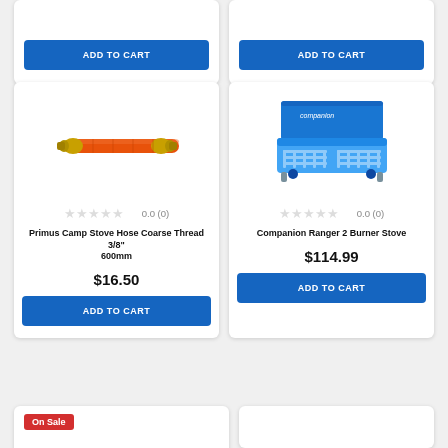[Figure (other): Partial product card top-left with ADD TO CART button]
[Figure (other): Partial product card top-right with ADD TO CART button]
[Figure (photo): Orange gas hose with brass fittings - Primus Camp Stove Hose Coarse Thread 3/8" 600mm]
0.0 (0)
Primus Camp Stove Hose Coarse Thread 3/8" 600mm
$16.50
ADD TO CART
[Figure (photo): Blue Companion Ranger 2 Burner Stove camp stove]
0.0 (0)
Companion Ranger 2 Burner Stove
$114.99
ADD TO CART
On Sale